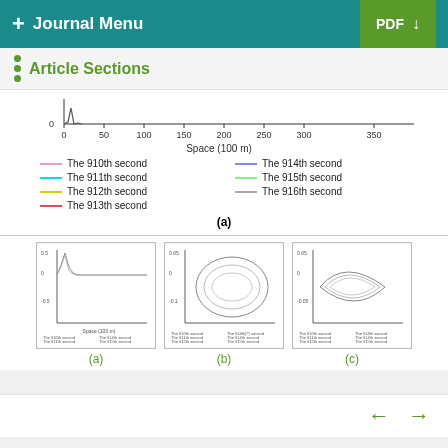+ Journal Menu   PDF ↓
Article Sections
[Figure (continuous-plot): Partial wave plot showing Space (100m) on x-axis (0 to 350) with multiple time series lines (910th-916th seconds), legend included]
(a)
[Figure (continuous-plot): Small subfigure (a): line chart of traffic flow vs space for seconds 910-916]
(a)
[Figure (continuous-plot): Small subfigure (b): phase-space diagram]
(b)
[Figure (continuous-plot): Small subfigure (c): another phase-space or flow diagram]
(c)